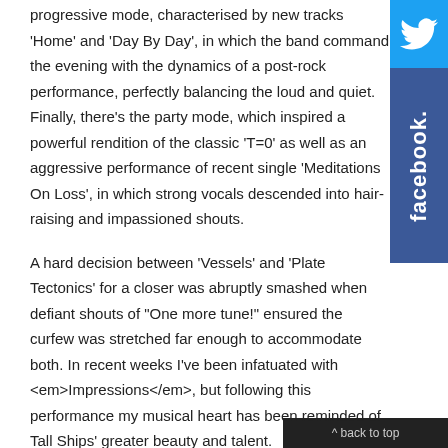progressive mode, characterised by new tracks 'Home' and 'Day By Day', in which the band command the evening with the dynamics of a post-rock performance, perfectly balancing the loud and quiet. Finally, there's the party mode, which inspired a powerful rendition of the classic 'T=0' as well as an aggressive performance of recent single 'Meditations On Loss', in which strong vocals descended into hair-raising and impassioned shouts.
A hard decision between 'Vessels' and 'Plate Tectonics' for a closer was abruptly smashed when defiant shouts of "One more tune!" ensured the curfew was stretched far enough to accommodate both. In recent weeks I've been infatuated with <em>Impressions</em>, but following this performance my musical heart has been reminded of Tall Ships' greater beauty and talent.
They are truly wonderful, and you should listen to them if you haven't before, and don't delay.
Rate this item  (0 votes)
Tagged under  TALL SHIPS  GLASGOW  KING TUT'S